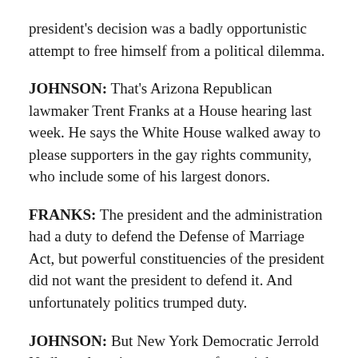president's decision was a badly opportunistic attempt to free himself from a political dilemma.
JOHNSON: That's Arizona Republican lawmaker Trent Franks at a House hearing last week. He says the White House walked away to please supporters in the gay rights community, who include some of his largest donors.
FRANKS: The president and the administration had a duty to defend the Defense of Marriage Act, but powerful constituencies of the president did not want the president to defend it. And unfortunately politics trumped duty.
JOHNSON: But New York Democratic Jerrold Nadler, a longtime supporter of gay rights, says the Republicans are on the wrong side of history.